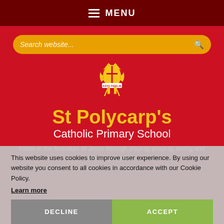MENU
[Figure (logo): St Polycarp's Catholic Primary School crest/logo — golden bishop's mitre with crossed keys and flames, motto ESTO FIDELIS on a banner]
St Polycarp's
Catholic Primary School
follow in the footsteps of Jesus through playing, praying, loving and learning together
This website uses cookies to improve user experience. By using our website you consent to all cookies in accordance with our Cookie Policy.
Learn more
DECLINE
ACCEPT